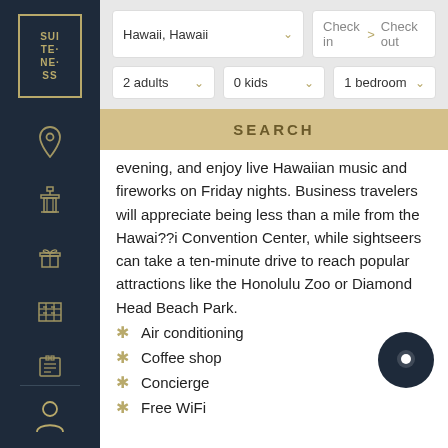[Figure (logo): Suiteness logo in gold on dark navy sidebar]
[Figure (illustration): Sidebar navigation icons: location pin, tower/landmark, gift, building/hotel, schedule, person - in gold on dark navy sidebar]
[Figure (screenshot): Search bar UI: Hawaii, Hawaii location dropdown, Check in / Check out date picker, 2 adults, 0 kids, 1 bedroom dropdowns, and SEARCH button]
evening, and enjoy live Hawaiian music and fireworks on Friday nights. Business travelers will appreciate being less than a mile from the Hawai??i Convention Center, while sightseers can take a ten-minute drive to reach popular attractions like the Honolulu Zoo or Diamond Head Beach Park.
Air conditioning
Coffee shop
Concierge
Free WiFi